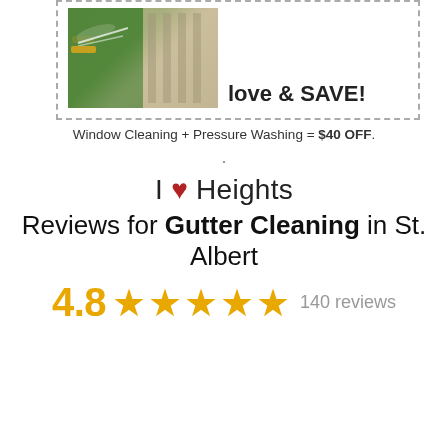[Figure (photo): Coupon box with dashed border showing a pressure washer/window cleaning image on the left and text area on the right]
Window Cleaning + Pressure Washing = $40 OFF.
.
I ♥ Heights
Reviews for Gutter Cleaning in St. Albert
4.8 ★★★★★ 140 reviews